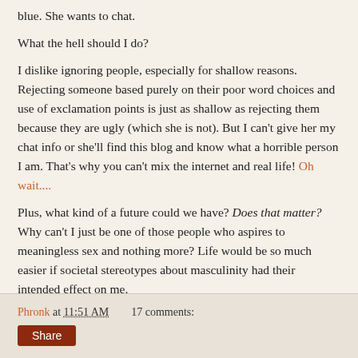blue. She wants to chat.
What the hell should I do?
I dislike ignoring people, especially for shallow reasons. Rejecting someone based purely on their poor word choices and use of exclamation points is just as shallow as rejecting them because they are ugly (which she is not). But I can't give her my chat info or she'll find this blog and know what a horrible person I am. That's why you can't mix the internet and real life! Oh wait....
Plus, what kind of a future could we have? Does that matter? Why can't I just be one of those people who aspires to meaningless sex and nothing more? Life would be so much easier if societal stereotypes about masculinity had their intended effect on me.
FML.
Phronk at 11:51 AM    17 comments:  Share